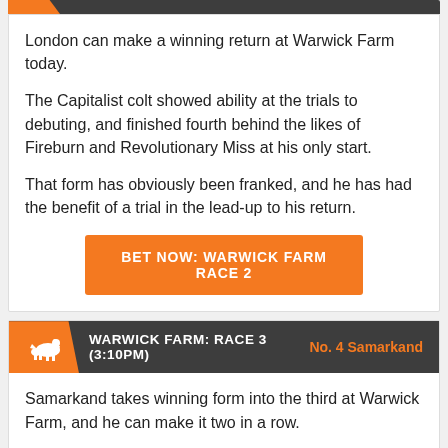London can make a winning return at Warwick Farm today.
The Capitalist colt showed ability at the trials to debuting, and finished fourth behind the likes of Fireburn and Revolutionary Miss at his only start.
That form has obviously been franked, and he has had the benefit of a trial in the lead-up to his return.
BET NOW: WARWICK FARM RACE 2
WARWICK FARM: RACE 3 (3:10PM)   No. 4 Samarkand
Samarkand takes winning form into the third at Warwick Farm, and he can make it two in a row.
The Mongolian Khan gelding returned some credible